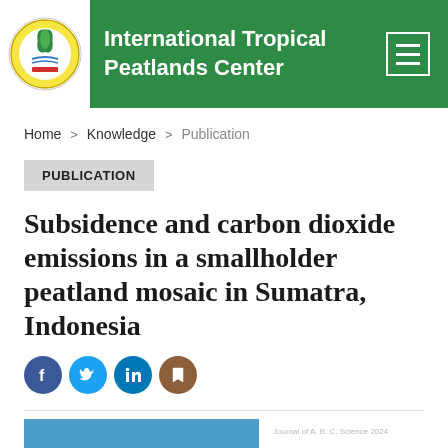International Tropical Peatlands Center
Home > Knowledge > Publication
PUBLICATION
Subsidence and carbon dioxide emissions in a smallholder peatland mosaic in Sumatra, Indonesia
[Figure (other): Social sharing icons: Facebook, Twitter, LinkedIn, and a share/bookmark icon]
[Figure (photo): Partial view of publication cover image with blue background]